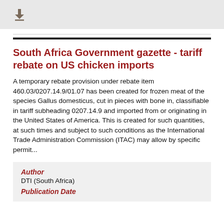[Figure (other): Download icon in gray top bar]
South Africa Government gazette - tariff rebate on US chicken imports
A temporary rebate provision under rebate item 460.03/0207.14.9/01.07 has been created for frozen meat of the species Gallus domesticus, cut in pieces with bone in, classifiable in tariff subheading 0207.14.9 and imported from or originating in the United States of America. This is created for such quantities, at such times and subject to such conditions as the International Trade Administration Commission (ITAC) may allow by specific permit...
Author
DTI (South Africa)
Publication Date